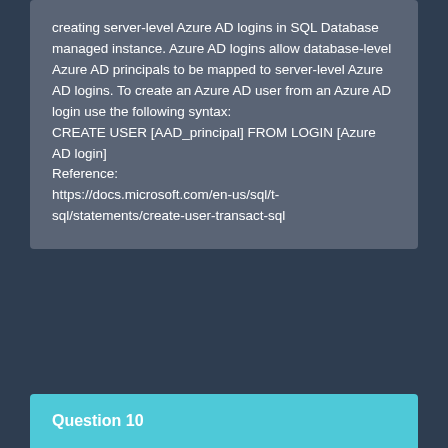creating server-level Azure AD logins in SQL Database managed instance. Azure AD logins allow database-level Azure AD principals to be mapped to server-level Azure AD logins. To create an Azure AD user from an Azure AD login use the following syntax:
CREATE USER [AAD_principal] FROM LOGIN [Azure AD login]
Reference:
https://docs.microsoft.com/en-us/sql/t-sql/statements/create-user-transact-sql
Question 10